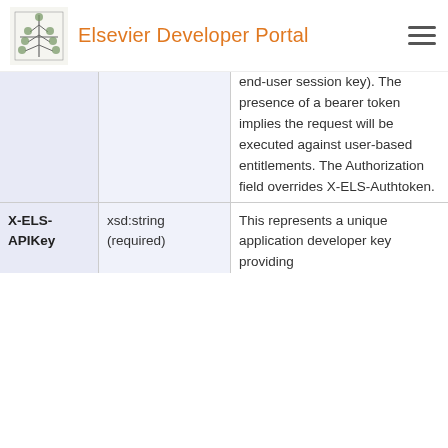Elsevier Developer Portal
| Name | Type | Description |
| --- | --- | --- |
|  |  | end-user session key). The presence of a bearer token implies the request will be executed against user-based entitlements. The Authorization field overrides X-ELS-Authtoken. |
| X-ELS-APIKey | xsd:string (required) | This represents a unique application developer key providing |